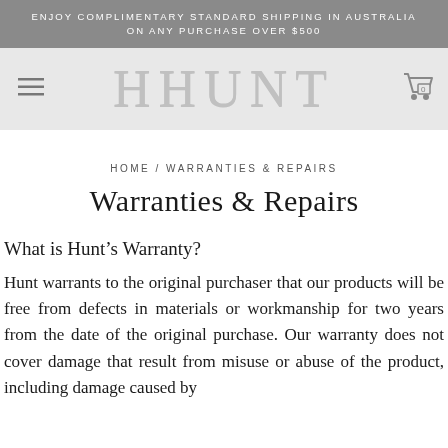ENJOY COMPLIMENTARY STANDARD SHIPPING IN AUSTRALIA ON ANY PURCHASE OVER $500
[Figure (logo): Hunt brand logo in grey serif text with hamburger menu icon on left and shopping cart icon on right, on a light grey navigation bar]
HOME / WARRANTIES & REPAIRS
Warranties & Repairs
What is Hunt's Warranty?
Hunt warrants to the original purchaser that our products will be free from defects in materials or workmanship for two years from the date of the original purchase. Our warranty does not cover damage that result from misuse or abuse of the product, including damage caused by